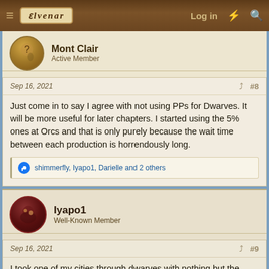Elvenar — Log in
Mont Clair
Active Member
Sep 16, 2021  #8
Just come in to say I agree with not using PPs for Dwarves. It will be more useful for later chapters. I started using the 5% ones at Orcs and that is only purely because the wait time between each production is horrendously long.
shimmerfly, Iyapo1, Darielle and 2 others
Iyapo1
Well-Known Member
Sep 16, 2021  #9
I took one of my cities through dwarves with nothing but the portal. But to be fair when I started they were giving PPs in